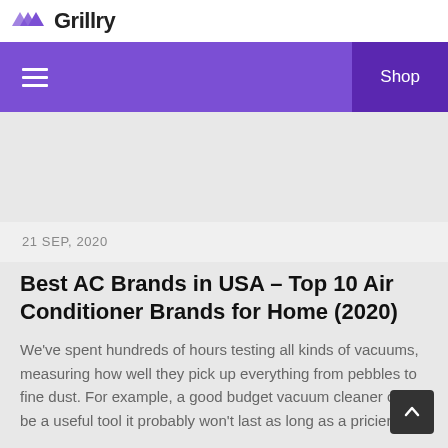Grillry
☰   Shop
21 SEP, 2020
Best AC Brands in USA – Top 10 Air Conditioner Brands for Home (2020)
We've spent hundreds of hours testing all kinds of vacuums, measuring how well they pick up everything from pebbles to fine dust. For example, a good budget vacuum cleaner can be a useful tool it probably won't last as long as a pricier pick.